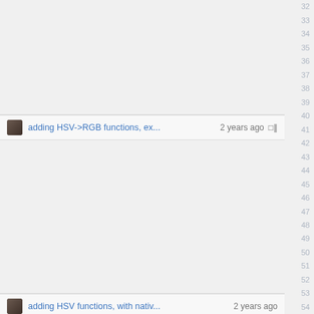32 33 34 35
adding HSV->RGB functions, ex... 2 years ago
36 37 38 39 40
adding HSV functions, with nativ...2 years ago
41 42 43 44 45 46 47 48 49 50 51 52 53 54